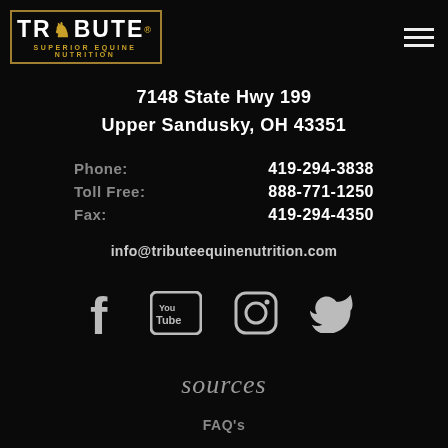[Figure (logo): Tribute Superior Equine Nutrition logo in gold border box with chess knight icon]
7148 State Hwy 199
Upper Sandusky, OH 43351
Phone: 419-294-3838
Toll Free: 888-771-1250
Fax: 419-294-4350
info@tributeequinenutrition.com
[Figure (infographic): Social media icons: Facebook, YouTube, Instagram, Twitter]
sources
FAQ's